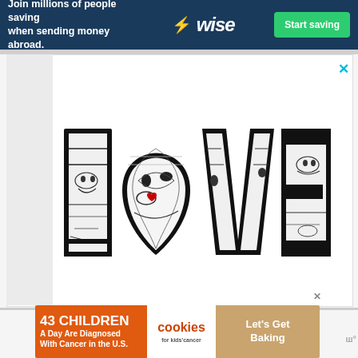[Figure (infographic): Wise money transfer banner advertisement. Dark navy background. Text: 'Join millions of people saving when sending money abroad.' Wise logo with lightning bolt. Green 'Start saving' button.]
[Figure (illustration): Decorative 'LOVE' text illustration with black-and-white intricate face and pattern artwork inside each letter, with the O shaped as a heart. A small red heart accent is visible.]
[Figure (infographic): Bottom banner ad for Cookies for Kids Cancer. Orange background on left with text '43 Children A Day Are Diagnosed With Cancer in the U.S.' Cookies logo in center. Right side shows cookie image with text 'Let's Get Baking'.]